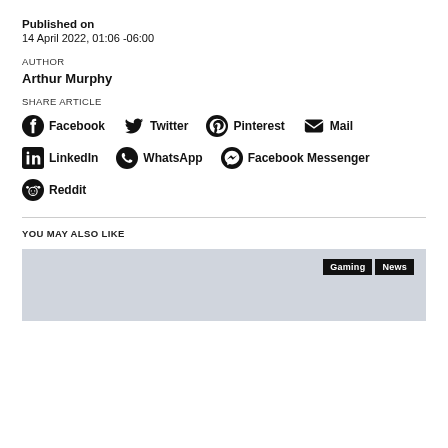Published on
14 April 2022, 01:06 -06:00
AUTHOR
Arthur Murphy
SHARE ARTICLE
Facebook
Twitter
Pinterest
Mail
LinkedIn
WhatsApp
Facebook Messenger
Reddit
YOU MAY ALSO LIKE
[Figure (photo): Gray placeholder image card with Gaming and News tags in top right corner]